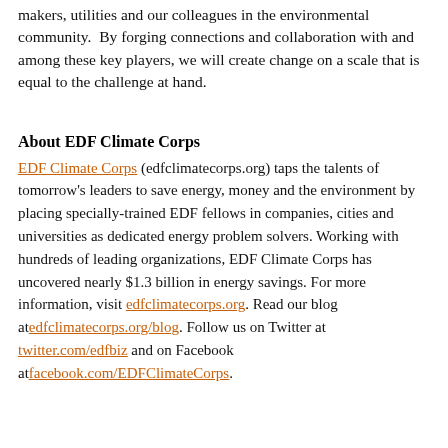makers, utilities and our colleagues in the environmental community.  By forging connections and collaboration with and among these key players, we will create change on a scale that is equal to the challenge at hand.
About EDF Climate Corps
EDF Climate Corps (edfclimatecorps.org) taps the talents of tomorrow's leaders to save energy, money and the environment by placing specially-trained EDF fellows in companies, cities and universities as dedicated energy problem solvers. Working with hundreds of leading organizations, EDF Climate Corps has uncovered nearly $1.3 billion in energy savings. For more information, visit edfclimatecorps.org. Read our blog at edfclimatecorps.org/blog. Follow us on Twitter at twitter.com/edfbiz and on Facebook at facebook.com/EDFClimateCorps.